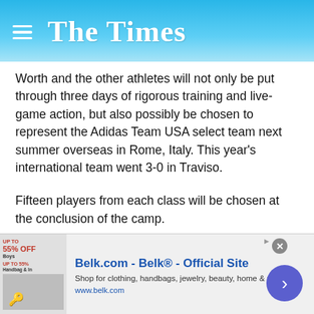The Times
Worth and the other athletes will not only be put through three days of rigorous training and live-game action, but also possibly be chosen to represent the Adidas Team USA select team next summer overseas in Rome, Italy. This year's international team went 3-0 in Traviso.
Fifteen players from each class will be chosen at the conclusion of the camp.
Worth and Gibbs are currently teammates on the Norcross-based Innerman Academy Lady Rebels team. Worth has been with the team for only the last four months, though in that short time frame has gained the attention of many Division…
[Figure (other): Belk.com advertisement banner with logo, description 'Shop for clothing, handbags, jewelry, beauty, home & more!' and URL www.belk.com]